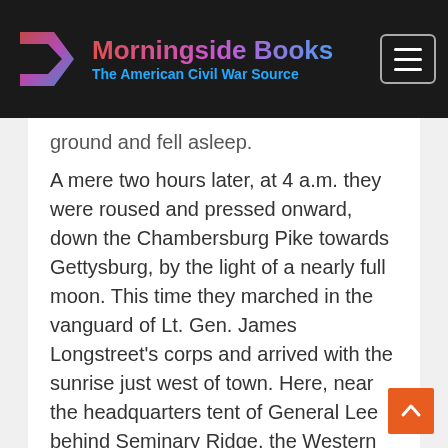Morningside Books — The American Civil War Source
ground and fell asleep.
A mere two hours later, at 4 a.m. they were roused and pressed onward, down the Chambersburg Pike towards Gettysburg, by the light of a nearly full moon. This time they marched in the vanguard of Lt. Gen. James Longstreet's corps and arrived with the sunrise just west of town. Here, near the headquarters tent of General Lee behind Seminary Ridge, the Western boys halted, awaiting orders. It was July 2, and Maj. Gen. John Bell Hood's division would that day paint its name in history with the blood of the brave.